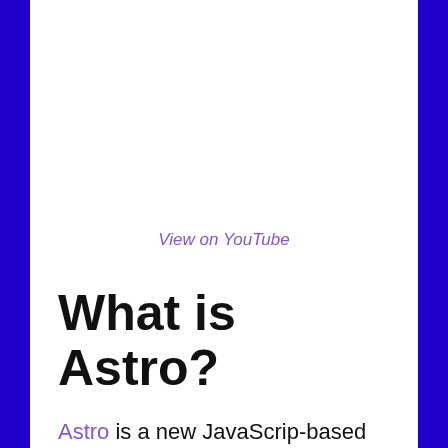[Figure (other): Video thumbnail placeholder area (white space above View on YouTube link)]
View on YouTube
What is Astro?
Astro is a new JavaScrip-based static site builder that promises incredibly lean apps.
It ships 0 bytes of JavaScript by default, only loading it on demand if even needed, all while being able to choose your own UI framework including React, Preact, Svelte, and Vue.